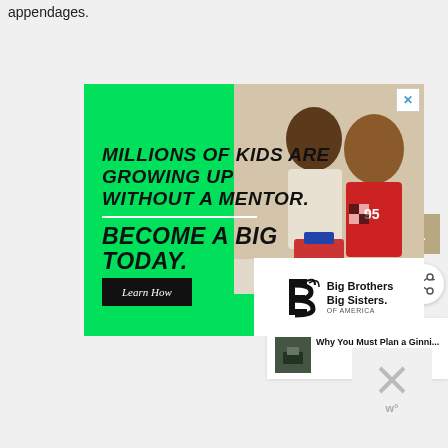appendages.
[Figure (infographic): Big Brothers Big Sisters of America advertisement. Green background with bold text: 'MILLIONS OF KIDS ARE GROWING UP WITHOUT A MENTOR. BECOME A BIG TODAY.' with a 'Learn How' button and the Big Brothers Big Sisters logo. Photo of a man and child looking at something together in the upper right of the ad.]
WHAT'S NEXT → Why You Must Plan a Ginni...